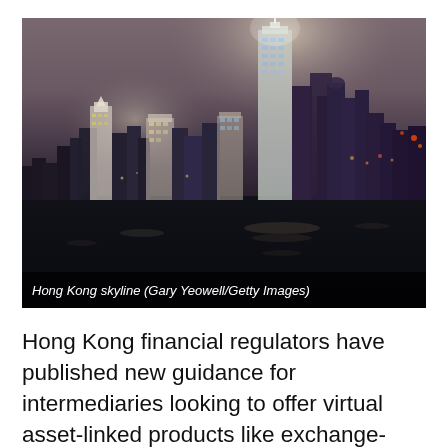[Figure (photo): Nighttime photo of the Hong Kong skyline reflected over water, misty atmosphere with illuminated skyscrapers including IFC tower. Caption reads: Hong Kong skyline (Gary Yeowell/Getty Images)]
Hong Kong skyline (Gary Yeowell/Getty Images)
Hong Kong financial regulators have published new guidance for intermediaries looking to offer virtual asset-linked products like exchange-traded funds (ETF)